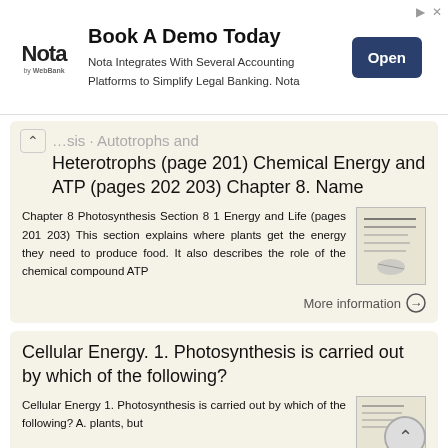[Figure (screenshot): Advertisement banner: Nota by WebBank. 'Book A Demo Today'. 'Nota Integrates With Several Accounting Platforms to Simplify Legal Banking. Nota'. Open button.]
Heterotrophs (page 201) Chemical Energy and ATP (pages 202 203) Chapter 8. Name
Chapter 8 Photosynthesis Section 8 1 Energy and Life (pages 201 203) This section explains where plants get the energy they need to produce food. It also describes the role of the chemical compound ATP
More information →
Cellular Energy. 1. Photosynthesis is carried out by which of the following?
Cellular Energy 1. Photosynthesis is carried out by which of the following? A. plants, but